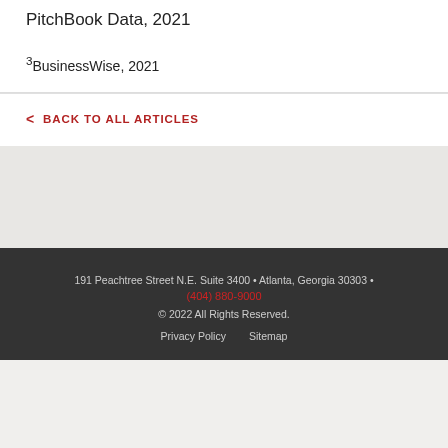PitchBook Data, 2021
3BusinessWise, 2021
< BACK TO ALL ARTICLES
191 Peachtree Street N.E. Suite 3400 • Atlanta, Georgia 30303 • (404) 880-9000 © 2022 All Rights Reserved. Privacy Policy Sitemap